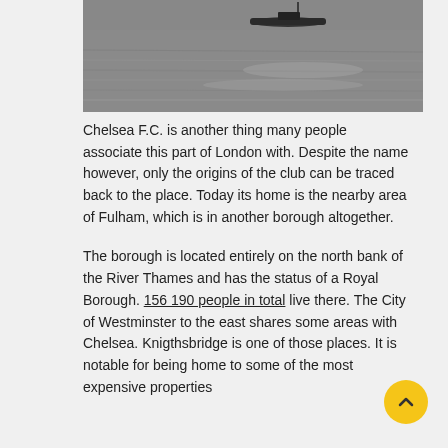[Figure (photo): Black and white photograph of a boat on the River Thames, with calm water and light reflections visible.]
Chelsea F.C. is another thing many people associate this part of London with. Despite the name however, only the origins of the club can be traced back to the place. Today its home is the nearby area of Fulham, which is in another borough altogether.
The borough is located entirely on the north bank of the River Thames and has the status of a Royal Borough. 156 190 people in total live there. The City of Westminster to the east shares some areas with Chelsea. Knigthsbridge is one of those places. It is notable for being home to some of the most expensive properties